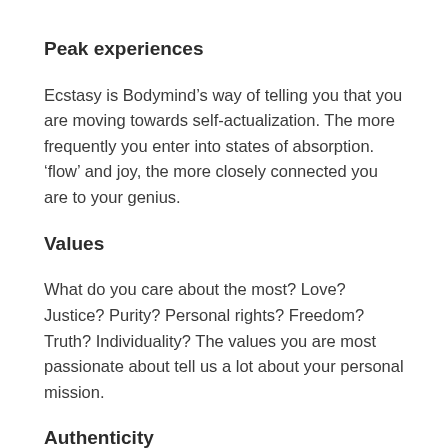Peak experiences
Ecstasy is Bodymind’s way of telling you that you are moving towards self-actualization. The more frequently you enter into states of absorption. ‘flow’ and joy, the more closely connected you are to your genius.
Values
What do you care about the most? Love? Justice? Purity? Personal rights? Freedom? Truth? Individuality? The values you are most passionate about tell us a lot about your personal mission.
Authenticity